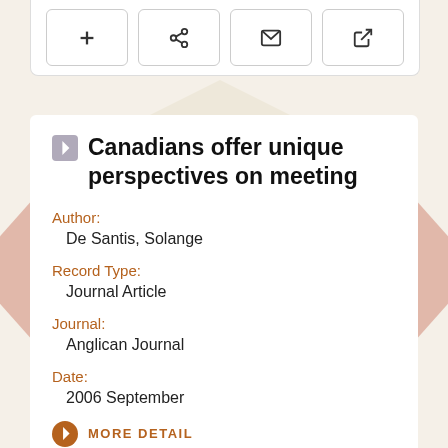[Figure (screenshot): Top toolbar card with four icon buttons: plus, share, mail, and external link]
Canadians offer unique perspectives on meeting
Author:
De Santis, Solange
Record Type:
Journal Article
Journal:
Anglican Journal
Date:
2006 September
MORE DETAIL